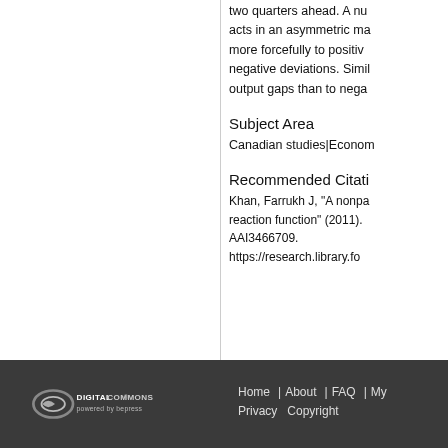two quarters ahead. A nu acts in an asymmetric ma more forcefully to positi negative deviations. Simil output gaps than to nega
Subject Area
Canadian studies|Econom
Recommended Citati
Khan, Farrukh J, "A nonpa reaction function" (2011). AAI3466709. https://research.library.fo
DigitalCommons powered by bepress | Home | About | FAQ | My | Privacy | Copyright